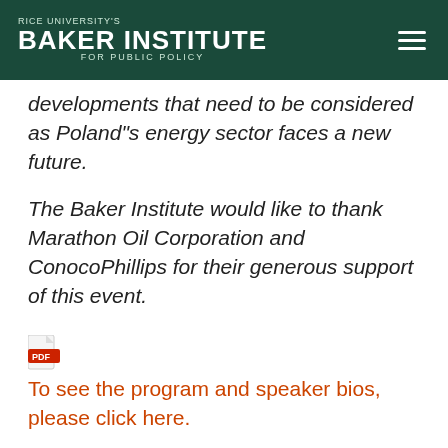Rice University's Baker Institute for Public Policy
developments that need to be considered as Poland"s energy sector faces a new future.
The Baker Institute would like to thank Marathon Oil Corporation and ConocoPhillips for their generous support of this event.
To see the program and speaker bios, please click here.
Agenda